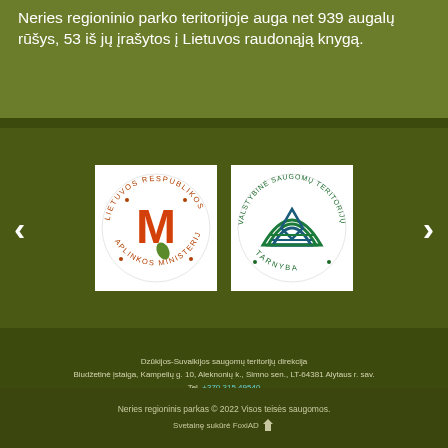Neries regioninio parko teritorijoje auga net 939 augalų rūšys, 53 iš jų įrašytos į Lietuvos raudonąją knygą.
[Figure (logo): Lietuvos Respublikos Aplinkos Ministerija logo - circular seal with orange M letter and leaf]
[Figure (logo): Valstybinė Saugomų Teritorijų Tarnyba logo - circular seal with green geometric building/tent design]
Dzūkijos-Suvalkijos saugomų teritorijų direkcija
Biudžetinė įstaiga, Kampelių g. 10, Aleknonių k., Simno sen., LT-64381 Alytaus r. sav.
Tel. +370 315 49540
El. p. dzukija.suvalkija@saugoma.lt
Duomenys kaupiami ir saugomi Juridinių asmenų registre, kodas 306109963
Neries regioninis parkas © 2022 Visos teisės saugomos.
Svetainę sukūrė FoxiAD